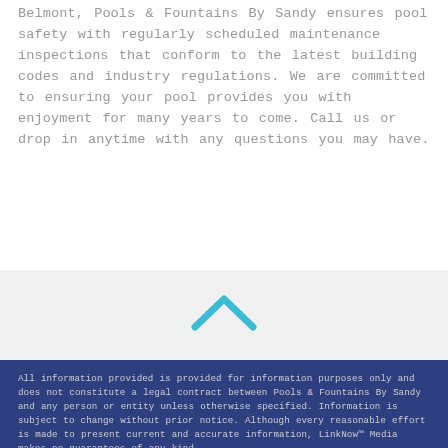Belmont, Pools & Fountains By Sandy ensures pool safety with regularly scheduled maintenance inspections that conform to the latest building codes and industry regulations. We are committed to ensuring your pool provides you with enjoyment for many years to come. Call us or drop in anytime with any questions you may have.
[Figure (other): An upward-pointing chevron/caret icon in teal/cyan color centered in a light gray section]
All information provided is provided for information purposes only and does not constitute a legal contract between Pools & Fountains By Sandy and any person or entity unless otherwise specified. Information is subject to change without prior notice. Although every reasonable effort is made to present current and accurate information, LinkNow™ Media makes no guarantees of any kind.